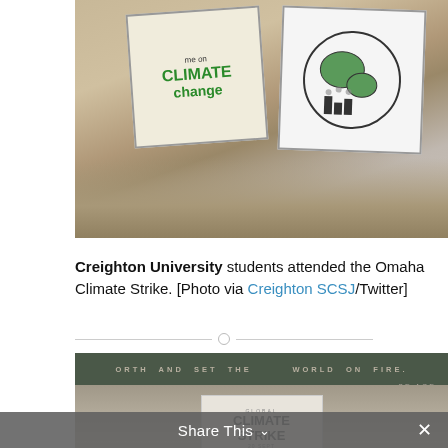[Figure (photo): Students at the Omaha Climate Strike holding signs that read 'Climate Change' and show illustrations of the earth with factories]
Creighton University students attended the Omaha Climate Strike. [Photo via Creighton SCSJ/Twitter]
[Figure (photo): Students indoors in front of a projector screen showing 'Global Climate Strike' text, with a banner reading 'ORTH AND SET THE WORLD ON FIRE. -SE AGE' visible in the background]
Share This